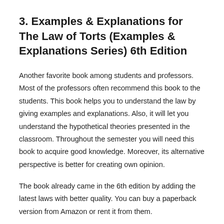3. Examples & Explanations for The Law of Torts (Examples & Explanations Series) 6th Edition
Another favorite book among students and professors. Most of the professors often recommend this book to the students. This book helps you to understand the law by giving examples and explanations. Also, it will let you understand the hypothetical theories presented in the classroom. Throughout the semester you will need this book to acquire good knowledge. Moreover, its alternative perspective is better for creating own opinion.
The book already came in the 6th edition by adding the latest laws with better quality. You can buy a paperback version from Amazon or rent it from them.
4. Torts